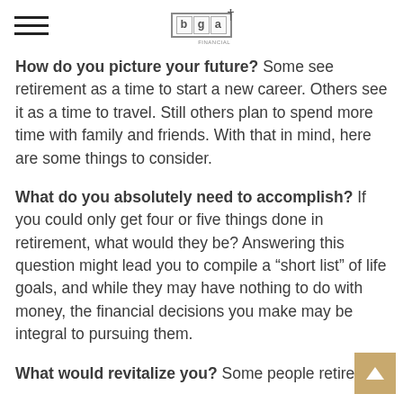bga+ [logo with hamburger menu]
How do you picture your future? Some see retirement as a time to start a new career. Others see it as a time to travel. Still others plan to spend more time with family and friends. With that in mind, here are some things to consider.
What do you absolutely need to accomplish? If you could only get four or five things done in retirement, what would they be? Answering this question might lead you to compile a “short list” of life goals, and while they may have nothing to do with money, the financial decisions you make may be integral to pursuing them.
What would revitalize you? Some people retire